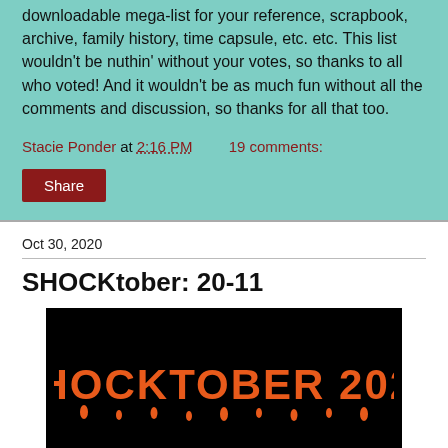downloadable mega-list for your reference, scrapbook, archive, family history, time capsule, etc. etc. This list wouldn't be nuthin' without your votes, so thanks to all who voted! And it wouldn't be as much fun without all the comments and discussion, so thanks for all that too.
Stacie Ponder at 2:16 PM   19 comments:
Share
Oct 30, 2020
SHOCKtober: 20-11
[Figure (illustration): Black banner with orange dripping horror-style text reading SHOCKTOBER 2020]